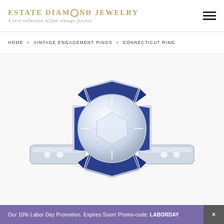ESTATE DIAMOND JEWELRY — A rare collection of fine vintage jewelry
HOME » VINTAGE ENGAGEMENT RINGS » CONNECTICUT RING
[Figure (photo): Close-up photo of a vintage diamond engagement ring with a large round brilliant-cut center diamond surrounded by a halo of calibré-cut blue sapphires in an Art Deco geometric platinum setting, with small accent diamonds on the shoulders]
Our 10% Labor Day Promotion. Expires Soon! Promo-code: LABORDAY